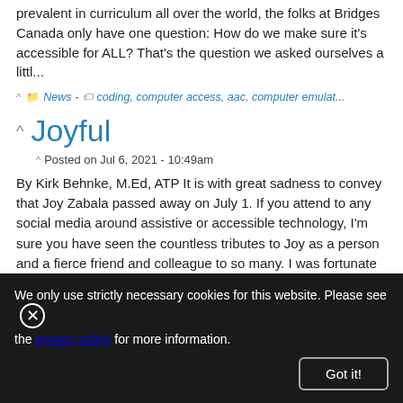prevalent in curriculum all over the world, the folks at Bridges Canada only have one question: How do we make sure it's accessible for ALL? That's the question we asked ourselves a littl...
News - coding, computer access, aac, computer emulat...
Joyful
Posted on Jul 6, 2021 - 10:49am
By Kirk Behnke, M.Ed, ATP It is with great sadness to convey that Joy Zabala passed away on July 1. If you attend to any social media around assistive or accessible technology, I'm sure you have seen the countless tributes to Joy as a person and a fierce friend and colleague to so many. I was fortunate to have worked...
We only use strictly necessary cookies for this website. Please see the privacy policy for more information. Got it!